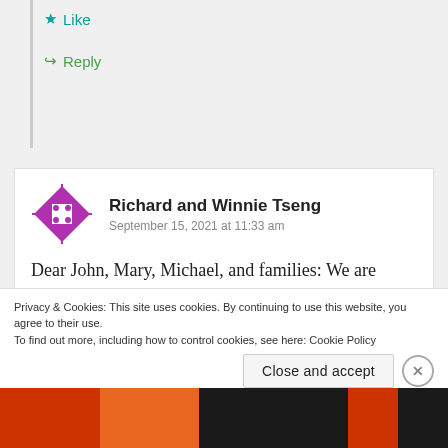Like
Reply
Richard and Winnie Tseng
September 15, 2021 at 11:33 am
Dear John, Mary, Michael, and families: We are sorry to hear the sad news about loosing another
Privacy & Cookies: This site uses cookies. By continuing to use this website, you agree to their use.
To find out more, including how to control cookies, see here: Cookie Policy
Close and accept